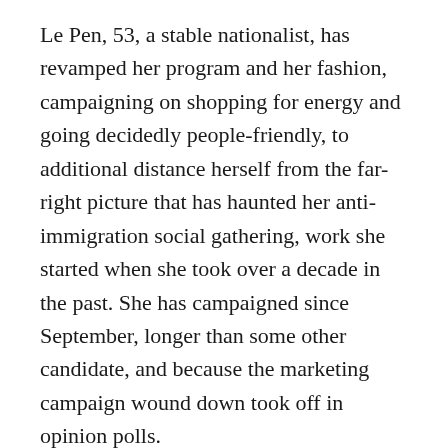Le Pen, 53, a stable nationalist, has revamped her program and her fashion, campaigning on shopping for energy and going decidedly people-friendly, to additional distance herself from the far-right picture that has haunted her anti-immigration social gathering, work she started when she took over a decade in the past. She has campaigned since September, longer than some other candidate, and because the marketing campaign wound down took off in opinion polls.
In distinction, Macron, 44, got here late to the marketing campaign path, occupied with political views, together with his energetic function in attempting to cease the battle in Ukraine. He has dominated polls from the beginning, however some in his entourage nervous aloud about Le Pen...